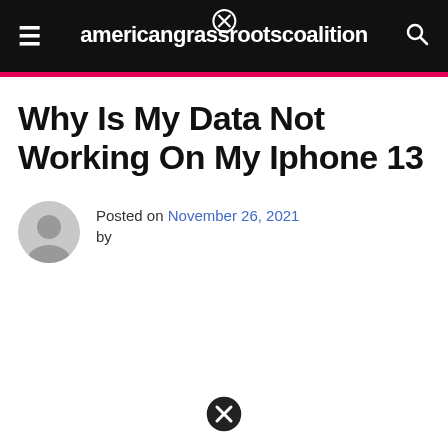americangrassrootscoalition
Why Is My Data Not Working On My Iphone 13
Posted on November 26, 2021 by